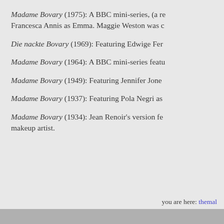Madame Bovary (1975): A BBC mini-series, (a re... Francesca Annis as Emma. Maggie Weston was c...
Die nackte Bovary (1969): Featuring Edwige Fer...
Madame Bovary (1964): A BBC mini-series featu...
Madame Bovary (1949): Featuring Jennifer Jone...
Madame Bovary (1937): Featuring Pola Negri as...
Madame Bovary (1934): Jean Renoir's version fe... makeup artist.
you are here: themal...